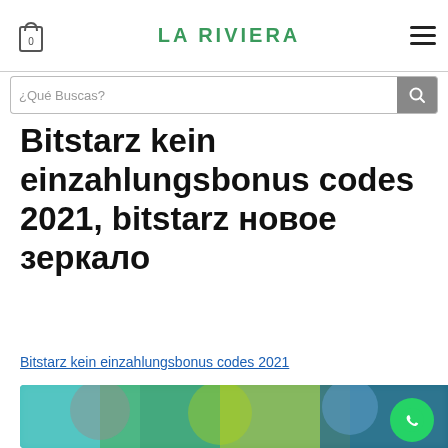LA RIVIERA
Bitstarz kein einzahlungsbonus codes 2021, bitstarz новое зеркало
Bitstarz kein einzahlungsbonus codes 2021
[Figure (screenshot): Blurred screenshot of a gaming/casino website with colorful characters and game thumbnails]